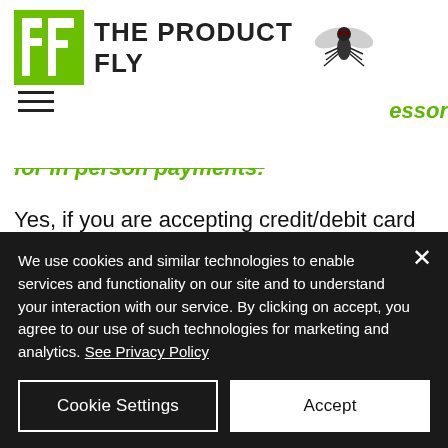THE PRODUCT FLY
for in person payments:
Yes, if you are accepting credit/debit card payments you will need to use a payment processor to accept and transfer payments. Accepting payment in person can be extremely easy with companies like Helcim (Our
We use cookies and similar technologies to enable services and functionality on our site and to understand your interaction with our service. By clicking on accept, you agree to our use of such technologies for marketing and analytics. See Privacy Policy